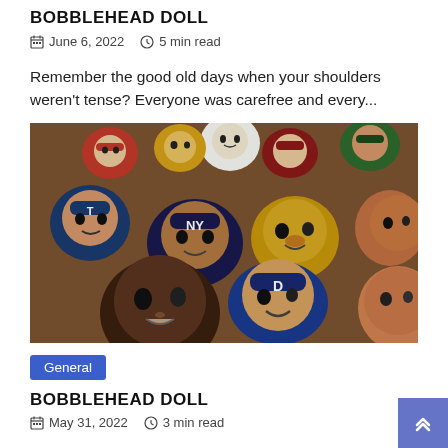BOBBLEHEAD DOLL
June 6, 2022   5 min read
Remember the good old days when your shoulders weren't tense? Everyone was carefree and every...
[Figure (photo): A dense collection of colorful bobblehead dolls featuring various baseball team mascots and player figures with large heads]
General
BOBBLEHEAD DOLL
May 31, 2022   3 min read
Bobblehead dolls have provided entertainment and